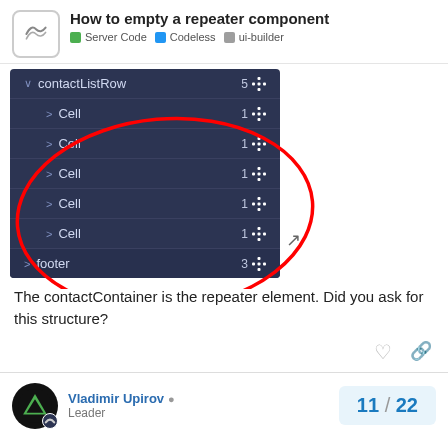How to empty a repeater component — Server Code · Codeless · ui-builder
[Figure (screenshot): UI builder component tree showing contactListRow with 5 children (four Cell items circled in red) and a footer row, with an expand icon at bottom right]
The contactContainer is the repeater element. Did you ask for this structure?
Vladimir Upirov — Leader
11 / 22